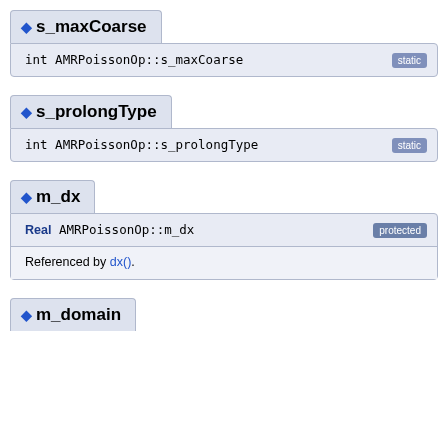s_maxCoarse
int AMRPoissonOp::s_maxCoarse  [static]
s_prolongType
int AMRPoissonOp::s_prolongType  [static]
m_dx
Real AMRPoissonOp::m_dx  [protected]
Referenced by dx().
m_domain